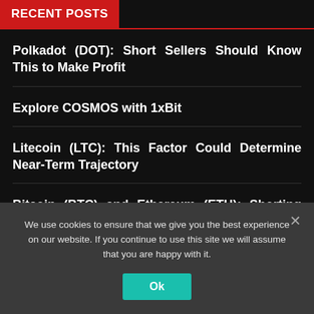RECENT POSTS
Polkadot (DOT): Short Sellers Should Know This to Make Profit
Explore COSMOS with 1xBit
Litecoin (LTC): This Factor Could Determine Near-Term Trajectory
Bitcoin (BTC) and Ethereum (ETH): Shorting Secrets Revealed
Global Prime Review – Is Global Prime Scam or a Proper Broker?
We use cookies to ensure that we give you the best experience on our website. If you continue to use this site we will assume that you are happy with it.